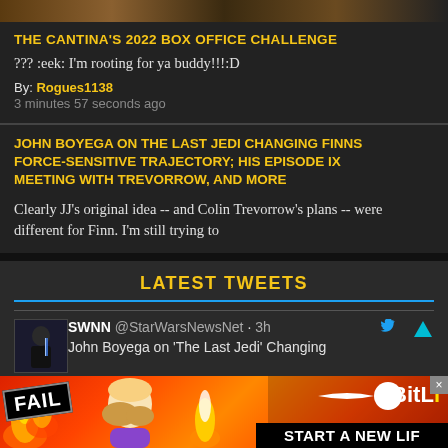[Figure (photo): Top image bar showing dark background with figures]
THE CANTINA'S 2022 BOX OFFICE CHALLENGE
??? :eek: I'm rooting for ya buddy!!!:D
By: Rogues1138
3 minutes 57 seconds ago
JOHN BOYEGA ON THE LAST JEDI CHANGING FINNS FORCE-SENSITIVE TRAJECTORY; HIS EPISODE IX MEETING WITH TREVORROW, AND MORE
Clearly JJ's original idea -- and Colin Trevorrow's plans -- were different for Finn. I'm still trying to
LATEST TWEETS
SWNN @StarWarsNewsNet · 3h
John Boyega on 'The Last Jedi' Changing
[Figure (photo): Advertisement banner: FAIL text with emoji, BitLife logo, START A NEW LIF text]